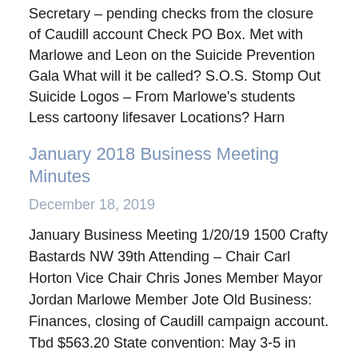Secretary – pending checks from the closure of Caudill account Check PO Box. Met with Marlowe and Leon on the Suicide Prevention Gala What will it be called? S.O.S. Stomp Out Suicide Logos – From Marlowe's students Less cartoony lifesaver Locations? Harn
January 2018 Business Meeting Minutes
December 18, 2019
January Business Meeting 1/20/19 1500 Crafty Bastards NW 39th Attending – Chair Carl Horton Vice Chair Chris Jones Member Mayor Jordan Marlowe Member Jote Old Business: Finances, closing of Caudill campaign account. Tbd $563.20 State convention: May 3-5 in Tampa Discussion about choosing location. Discussion about activities for convention: electing